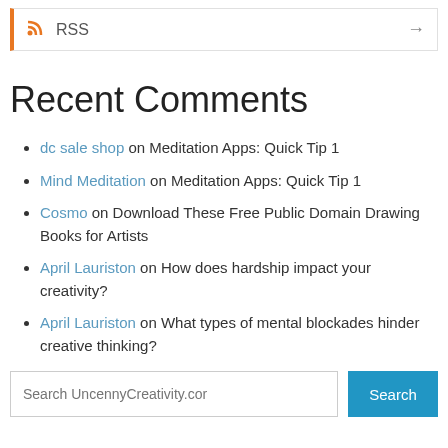RSS
Recent Comments
dc sale shop on Meditation Apps: Quick Tip 1
Mind Meditation on Meditation Apps: Quick Tip 1
Cosmo on Download These Free Public Domain Drawing Books for Artists
April Lauriston on How does hardship impact your creativity?
April Lauriston on What types of mental blockades hinder creative thinking?